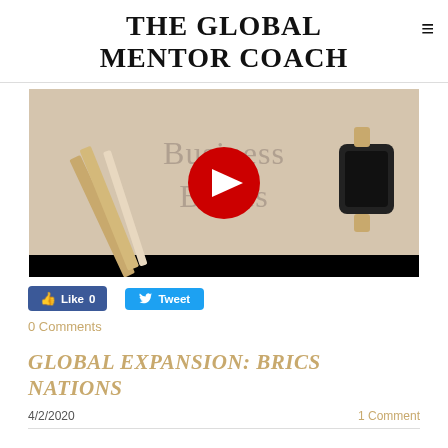THE GLOBAL MENTOR COACH
[Figure (screenshot): YouTube video thumbnail showing 'Business Basics' text with a YouTube play button overlay, background shows pens/pencils and a smartwatch on white surface. Black bar at bottom.]
Like 0   Tweet
0 Comments
GLOBAL EXPANSION: BRICS NATIONS
4/2/2020    1 Comment